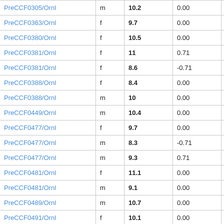| PreCCF0305/Ornl | m | 10.2 | 0.00 | 8092 |
| PreCCF0363/Ornl | f | 9.7 | 0.00 | 8036 |
| PreCCF0380/Ornl | f | 10.5 | 0.00 | 8459 |
| PreCCF0381/Ornl | f | 11 | 0.71 | 8040 |
| PreCCF0381/Ornl | f | 8.6 | -0.71 | 8700 |
| PreCCF0388/Ornl | f | 8.4 | 0.00 | 8463 |
| PreCCF0388/Ornl | m | 10 | 0.00 | 8464 |
| PreCCF0449/Ornl | m | 10.4 | 0.00 | 6886 |
| PreCCF0477/Ornl | f | 9.7 | 0.00 | 6899 |
| PreCCF0477/Ornl | m | 8.3 | -0.71 | 7576 |
| PreCCF0477/Ornl | m | 9.3 | 0.71 | 6900 |
| PreCCF0481/Ornl | f | 11.1 | 0.00 | 8054 |
| PreCCF0481/Ornl | m | 9.1 | 0.00 | 7578 |
| PreCCF0489/Ornl | m | 10.7 | 0.00 | 8707 |
| PreCCF0491/Ornl | f | 10.1 | 0.00 | 8058 |
| PreCCF0491/Ornl | ... | 9.0 | 0.00 | 8058 |